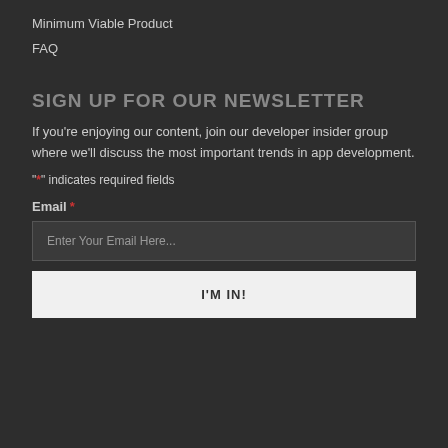Minimum Viable Product
FAQ
SIGN UP FOR OUR NEWSLETTER
If you're enjoying our content, join our developer insider group where we'll discuss the most important trends in app development.
"*" indicates required fields
Email *
Enter Your Email Here...
I'M IN!